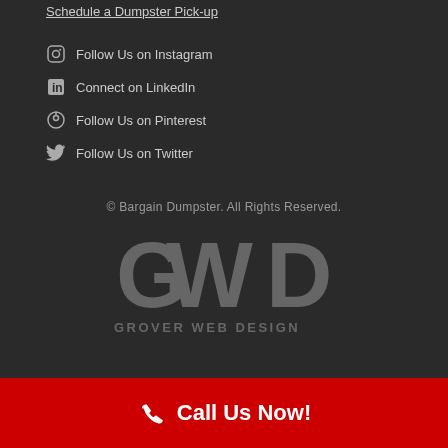Schedule a Dumpster Pick-up
Follow Us on Instagram
Connect on LinkedIn
Follow Us on Pinterest
Follow Us on Twitter
© Bargain Dumpster. All Rights Reserved.
[Figure (logo): Grover Web Design logo with large GWD letters and 'GROVER WEB DESIGN' text below]
Call Us Now!